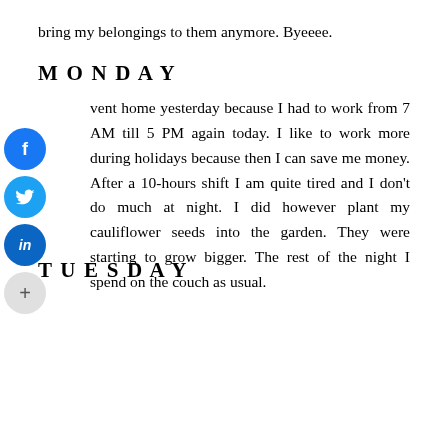bring my belongings to them anymore. Byeeee.
MONDAY
went home yesterday because I had to work from 7 AM till 5 PM again today. I like to work more during holidays because then I can save me money. After a 10-hours shift I am quite tired and I don't do much at night. I did however plant my cauliflower seeds into the garden. They were starting to grow bigger. The rest of the night I spend on the couch as usual.
TUESDAY